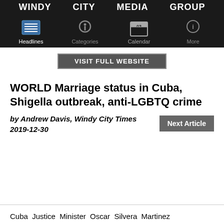WINDY CITY MEDIA GROUP — Headlines | Categories | Calendar | More
[Figure (screenshot): Navigation bar with VISIT FULL WEBSITE button]
WORLD Marriage status in Cuba, Shigella outbreak, anti-LGBTQ crime
by Andrew Davis, Windy City Times
2019-12-30
Cuba Justice Minister Oscar Silvera Martinez announced the Family Code—the law that could